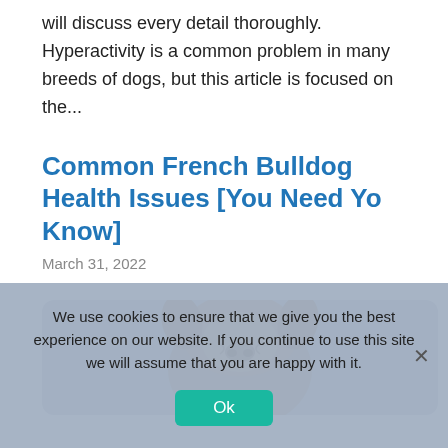will discuss every detail thoroughly. Hyperactivity is a common problem in many breeds of dogs, but this article is focused on the...
Common French Bulldog Health Issues [You Need Yo Know]
March 31, 2022
[Figure (photo): Photo of a French Bulldog viewed from above/behind, showing ears and back, against a gray rounded rectangle background]
We use cookies to ensure that we give you the best experience on our website. If you continue to use this site we will assume that you are happy with it.